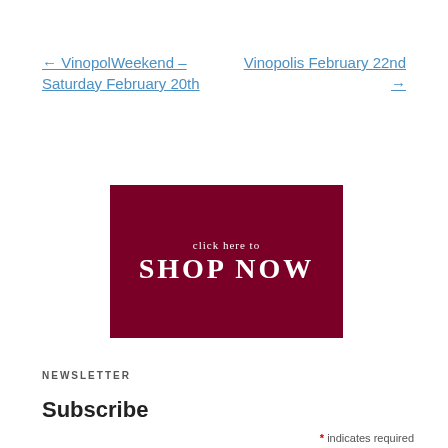← VinopolWeekend – Saturday February 20th
Vinopolis February 22nd →
[Figure (illustration): Dark red/maroon rectangular banner with text 'click here to SHOP NOW' in white serif font]
NEWSLETTER
Subscribe
* indicates required